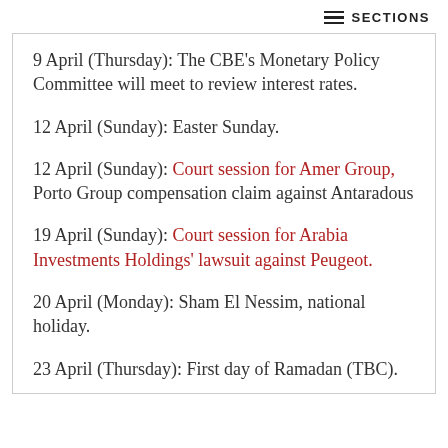SECTIONS
9 April (Thursday): The CBE's Monetary Policy Committee will meet to review interest rates.
12 April (Sunday): Easter Sunday.
12 April (Sunday): Court session for Amer Group, Porto Group compensation claim against Antaradous
19 April (Sunday): Court session for Arabia Investments Holdings' lawsuit against Peugeot.
20 April (Monday): Sham El Nessim, national holiday.
23 April (Thursday): First day of Ramadan (TBC).